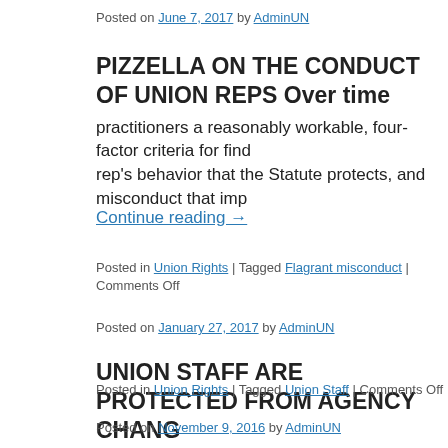Posted on June 7, 2017 by AdminUN
PIZZELLA ON THE CONDUCT OF UNION REPS Over time practitioners a reasonably workable, four-factor criteria for find rep's behavior that the Statute protects, and misconduct that imp
Continue reading →
Posted in Union Rights | Tagged Flagrant misconduct | Comments Off
Posted on January 27, 2017 by AdminUN
UNION STAFF ARE PROTECTED FROM AGENCY CHANG interesting case just before time ran out in 2016 that addressed a deals with union staff who are not now (and maybe … Continue
Posted in Union Rights | Tagged Union Staff | Comments Off
Posted on November 9, 2016 by AdminUN
WHAT HAPPENS NOW? Having lived through a few White H